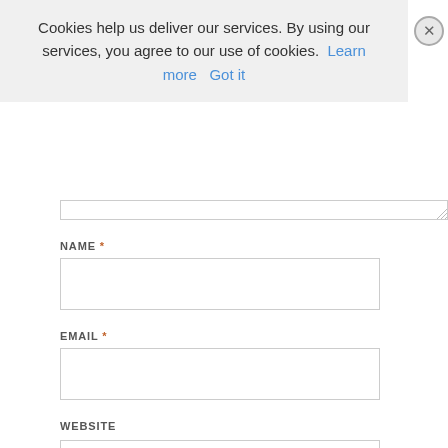Cookies help us deliver our services. By using our services, you agree to our use of cookies. Learn more  Got it
NAME *
[Figure (other): Empty text input field for NAME]
EMAIL *
[Figure (other): Empty text input field for EMAIL]
WEBSITE
[Figure (other): Empty text input field for WEBSITE]
SAVE MY NAME, EMAIL, AND WEBSITE IN THIS